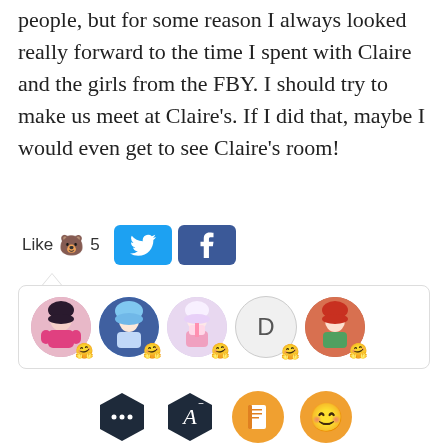people, but for some reason I always looked really forward to the time I spent with Claire and the girls from the FBY. I should try to make us meet at Claire's. If I did that, maybe I would even get to see Claire's room!
[Figure (screenshot): Social interaction bar with Like button showing bear emoji and count 5, Twitter share button, Facebook share button, and a row of 5 anime-style user avatar circles each with a bear-hug reaction emoji badge. Below is a toolbar with dark hexagon chat icon, dark hexagon letter-A icon, orange book icon, and orange smiling emoji icon.]